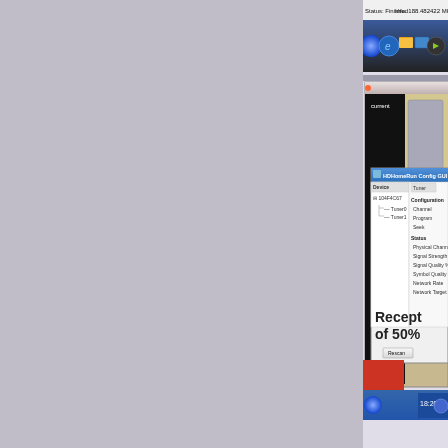[Figure (screenshot): Screenshot of a Windows desktop showing an HDHomeRun Config GUI dialog overlaid on an animated television program. The taskbar at the top shows 'Status: Finished' on the left and 'Info: 188.482422 MHz, -32.82 dB' on the right. The taskbar contains icons including Windows Start button, Internet Explorer, folder, monitor, media player, and other icons. The main content shows a cartoon/animated scene with kitchen equipment. An HDHomeRun Config GUI window is open showing a device tree with device '104F4C67' containing Tuner0 and Tuner1. The right panel shows Tuner configuration with fields: Channel, Program, Seek under Configuration, and Physical Channel, Signal Strength, Signal Quality %, Symbol Quality, Network Rate, Network Target under Status. Large text reads 'Recept... of 50%'. A Rescan button appears at the bottom. The system clock shows 18:20.]